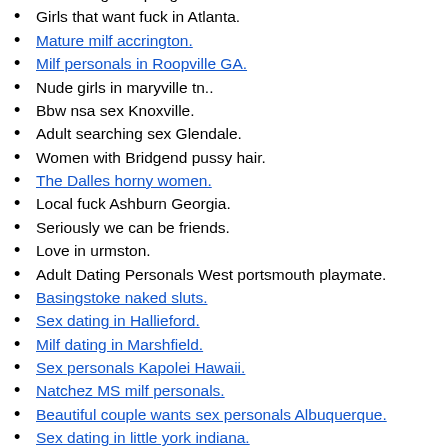Sex chat girls Springdale.
Girls that want fuck in Atlanta.
Mature milf accrington.
Milf personals in Roopville GA.
Nude girls in maryville tn..
Bbw nsa sex Knoxville.
Adult searching sex Glendale.
Women with Bridgend pussy hair.
The Dalles horny women.
Local fuck Ashburn Georgia.
Seriously we can be friends.
Love in urmston.
Adult Dating Personals West portsmouth playmate.
Basingstoke naked sluts.
Sex dating in Hallieford.
Milf dating in Marshfield.
Sex personals Kapolei Hawaii.
Natchez MS milf personals.
Beautiful couple wants sex personals Albuquerque.
Sex dating in little york indiana.
Gulfport slut Gulfport.
Hurricane mills TN sex dating.
Female disciplinarian spanking men.
Adult dating Dubuque.
Bellevue girls xxx.
Online personals in Kaltenbach...